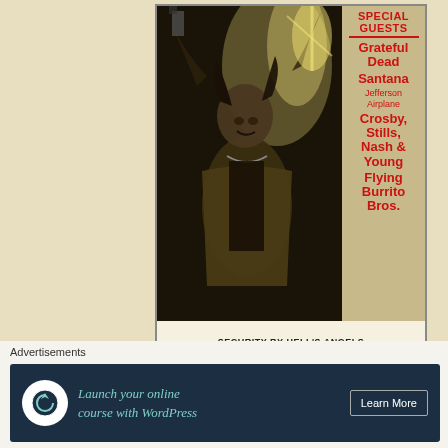[Figure (photo): Concert poster showing a black and white photo of a performer (Mick Jagger at Altamont) with arms raised, looking up. Right side lists special guests: Grateful Dead, Santana, Jefferson Airplane, Crosby Stills Nash & Young, Flying Burrito Bros. Bottom reads SECURITY BY HELL'S ANGELS with page number (181).]
Advertisements
[Figure (screenshot): Dark navy advertisement banner showing 'Opinions.' text in teal/mint italic font with circular icons on the right side.]
Advertisements
[Figure (screenshot): Dark navy advertisement banner with WordPress icon, text 'Launch your online course with WordPress' in teal italic font, and 'Learn More' button.]